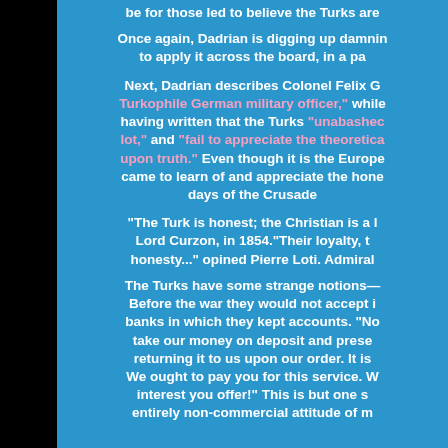be for those led to believe the Turks are
Once again, Dadrian is digging up damnin to apply it across the board, in a pa
Next, Dadrian describes Colonel Felix G Turkophile German military officer," while having written that the Turks "unabashec lot," and "fail to appreciate the theoretica upon truth." Even though it is the Europe came to learn of and appreciate the hone days of the Crusade
"The Turk is honest; the Christian is a l Lord Curzon, in 1854."Their loyalty, t honesty..." opined Pierre Loti. Admiral
The Turks have some strange notions— Before the war they would not accept i banks in which they kept accounts. "No take our money on deposit and prese returning it to us upon our order. It is We ought to pay you for this service. W interest you offer!" This is but one s entirely non-commercial attitude of m